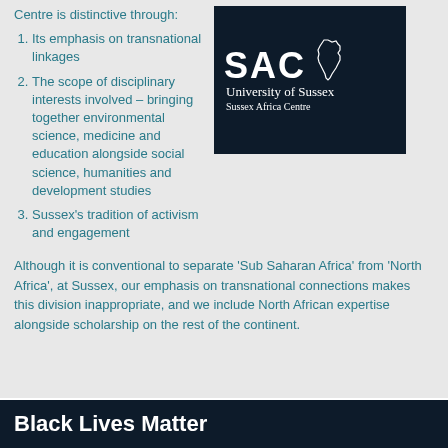Centre is distinctive through:
[Figure (logo): SAC University of Sussex Sussex Africa Centre logo on dark navy background with outline of Africa continent]
1. Its emphasis on transnational linkages
2. The scope of disciplinary interests involved – bringing together environmental science, medicine and education alongside social science, humanities and development studies
3. Sussex's tradition of activism and engagement
Although it is conventional to separate 'Sub Saharan Africa' from 'North Africa', at Sussex, our emphasis on transnational connections makes this division inappropriate, and we include North African expertise alongside scholarship on the rest of the continent.
Black Lives Matter